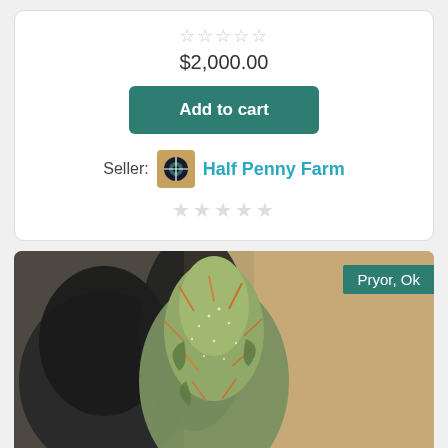☆☆☆☆☆
$2,000.00
Add to cart
Seller: Half Penny Farm
☆☆☆☆☆
[Figure (photo): Close-up photo of a cannabis bud being held by a black-gloved hand, with a blurred brown background. Location badge 'Pryor, Ok' in the top right corner.]